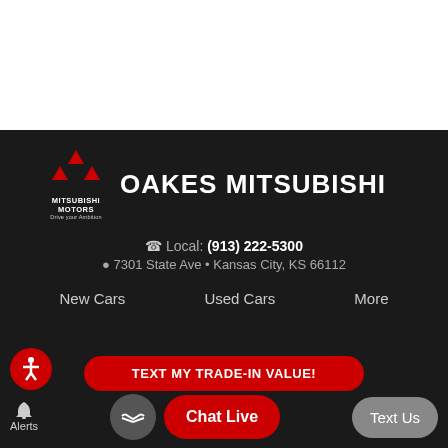[Figure (screenshot): White top area of webpage]
[Figure (logo): Mitsubishi Motors logo with three diamond triangles in red and text MITSUBISHI MOTORS Drive your Ambition]
OAKES MITSUBISHI
Local: (913) 222-5300
7301 State Ave • Kansas City, KS 66112
New Cars
Used Cars
More
TEXT MY TRADE-IN VALUE!
© 2022 Oakes Mitsubishi | Privacy Policy
Chat Live
Text Us
Alerts